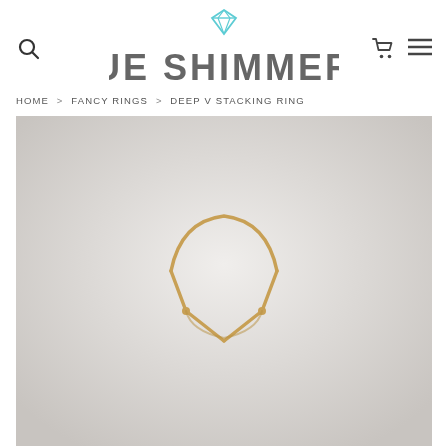[Figure (logo): Sue Shimmers jewelry brand logo with teal diamond icon above stylized text reading SUE SHIMMERS]
HOME > FANCY RINGS > DEEP V STACKING RING
[Figure (photo): Product photo of a gold Deep V Stacking Ring on a white background, showing a thin gold band with a V-shaped chevron front piece]